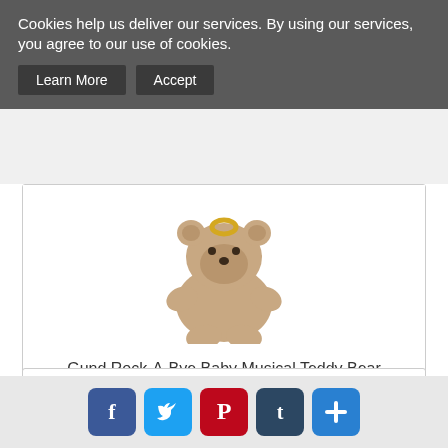Cookies help us deliver our services. By using our services, you agree to our use of cookies.
Learn More   Accept
[Figure (photo): Gund Rock-A-Bye Baby Musical Teddy Bear product image — a small brown teddy bear with a ring pull, viewed from above/behind]
Gund Rock-A-Bye Baby Musical Teddy Bear
only $89.99
View
Add to Cart
[Figure (infographic): Social sharing footer icons: Facebook, Twitter, Pinterest, Tumblr, and a blue plus/more button]